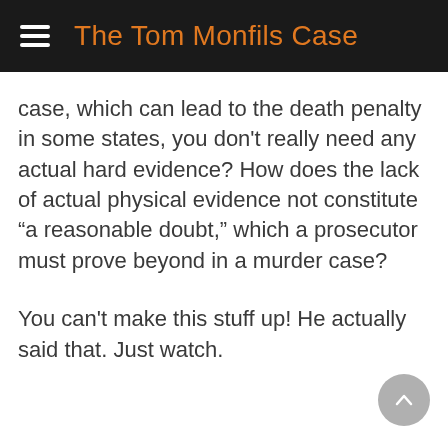The Tom Monfils Case
case, which can lead to the death penalty in some states, you don't really need any actual hard evidence? How does the lack of actual physical evidence not constitute “a reasonable doubt,” which a prosecutor must prove beyond in a murder case?
You can't make this stuff up! He actually said that. Just watch.